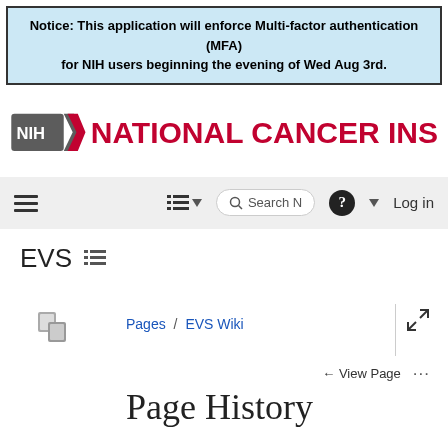Notice: This application will enforce Multi-factor authentication (MFA) for NIH users beginning the evening of Wed Aug 3rd.
[Figure (logo): NIH National Cancer Institute logo with red chevron and NIH badge]
[Figure (screenshot): Navigation bar with hamburger menu, list icon with dropdown, search box, help icon, and Log in link]
EVS  ☰
[Figure (screenshot): Tree/pages icon on left side]
Pages / EVS Wiki
← View Page  ···
Page History